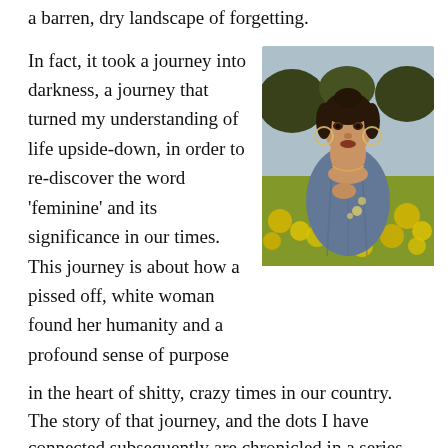a barren, dry landscape of forgetting.
In fact, it took a journey into darkness, a journey that turned my understanding of life upside-down, in order to re-discover the word 'feminine' and its significance in our times. This journey is about how a pissed off, white woman found her humanity and a profound sense of purpose in the heart of shitty, crazy times in our country. The story of that journey, and the dots I have connected subsequently are chronicled in a series of essays (some complete, some
[Figure (photo): A woman standing in a field of yellow flowers, wearing a blue denim jacket, looking at the camera with a warm expression. Blue sky with trees in the background.]